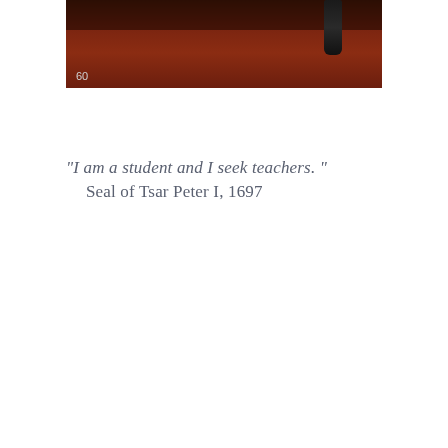[Figure (photo): Partial photograph showing a dark reddish-brown scene with the number 60 visible in the lower left corner, appearing to be a cropped image from a book page.]
"I am a student and I seek teachers."
Seal of Tsar Peter I, 1697